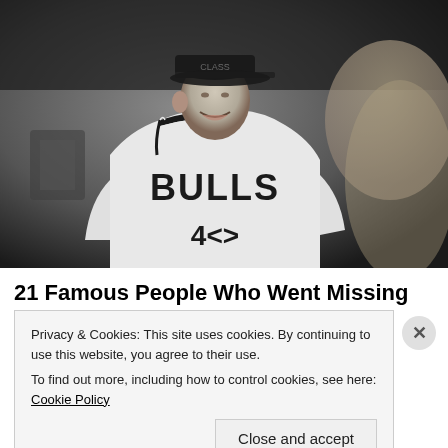[Figure (photo): Black and white photo of a man wearing a Chicago Bulls basketball jersey and a cap, smiling, with another person partially visible on the right side.]
21 Famous People Who Went Missing And Were
Privacy & Cookies: This site uses cookies. By continuing to use this website, you agree to their use.
To find out more, including how to control cookies, see here: Cookie Policy
Close and accept